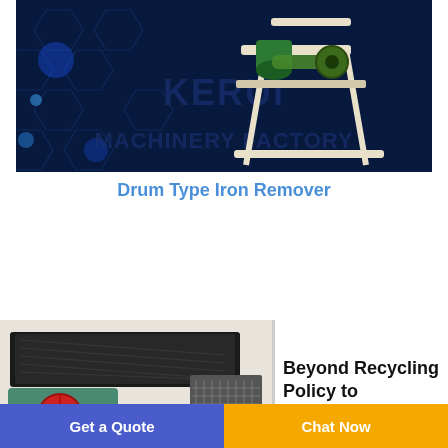[Figure (photo): Drum Type Iron Remover machine photo on dark blue background with hexagon pattern and KERUI MACHINERY FACTORY watermark text]
Drum Type Iron Remover
[Figure (photo): Industrial shaking table / vibrating table machinery photo (green and black equipment)]
Beyond Recycling Policy to
Get a Quote   Chat Now